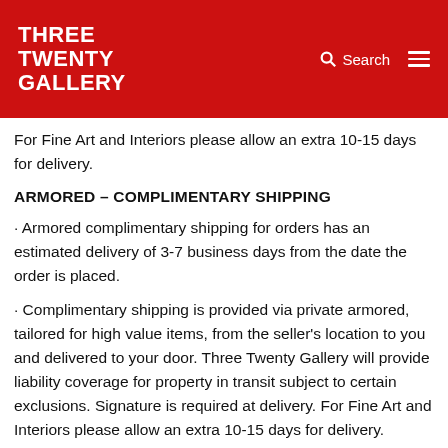THREE TWENTY GALLERY
For Fine Art and Interiors please allow an extra 10-15 days for delivery.
ARMORED – COMPLIMENTARY SHIPPING
· Armored complimentary shipping for orders has an estimated delivery of 3-7 business days from the date the order is placed.
· Complimentary shipping is provided via private armored, tailored for high value items, from the seller's location to you and delivered to your door. Three Twenty Gallery will provide liability coverage for property in transit subject to certain exclusions. Signature is required at delivery. For Fine Art and Interiors please allow an extra 10-15 days for delivery.